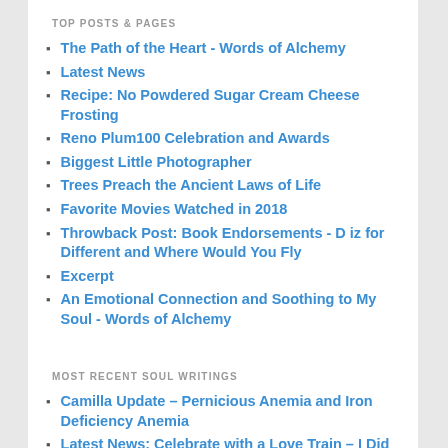TOP POSTS & PAGES
The Path of the Heart - Words of Alchemy
Latest News
Recipe: No Powdered Sugar Cream Cheese Frosting
Reno Plum100 Celebration and Awards
Biggest Little Photographer
Trees Preach the Ancient Laws of Life
Favorite Movies Watched in 2018
Throwback Post: Book Endorsements - D iz for Different and Where Would You Fly
Excerpt
An Emotional Connection and Soothing to My Soul - Words of Alchemy
MOST RECENT SOUL WRITINGS
Camilla Update – Pernicious Anemia and Iron Deficiency Anemia
Latest News: Celebrate with a Love Train – I Did It!
A Truly Wonderful Adventure – Where Would You Fly Review
Get to Know Me: Bizarre Happenings in Nevada